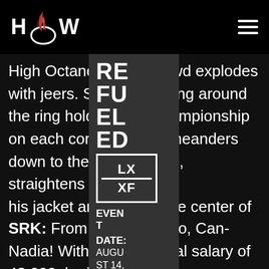HOW (logo) — hamburger menu
High Octane Wrestling crowd explodes with jeers. Sutle walking around the ring holding Championship on each corner, or meanders down to the ring ops, straightens his jacket and goes to the center of the ring as his m
[Figure (other): Overlay panel showing 'REFUELED' text vertically, HOW logo box with LX/XF, EVENT label, DATE: AUGUST 14, 2021]
SRK: From Tor- ar-Rio, Can-Nadia! With a su nnual salary of 48,000, he is the ,